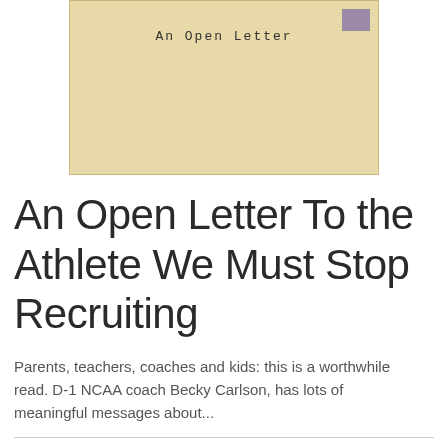[Figure (photo): An old yellowed envelope with the text 'An Open Letter' typed in a typewriter font in the center, with a purple postage stamp in the upper right corner.]
An Open Letter To the Athlete We Must Stop Recruiting
Parents, teachers, coaches and kids: this is a worthwhile read. D-1 NCAA coach Becky Carlson, has lots of meaningful messages about...